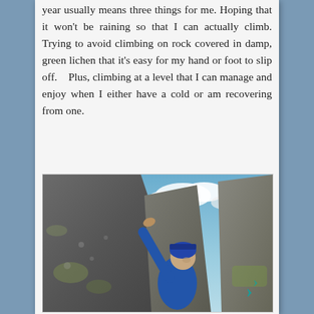year usually means three things for me. Hoping that it won't be raining so that I can actually climb. Trying to avoid climbing on rock covered in damp, green lichen that it's easy for my hand or foot to slip off.  Plus, climbing at a level that I can manage and enjoy when I either have a cold or am recovering from one.
[Figure (photo): A person wearing a blue hoodie and blue beanie hat rock climbing on large granite boulders outdoors, reaching up with one arm to grip the top of a rock. Blue sky with clouds in the background.]